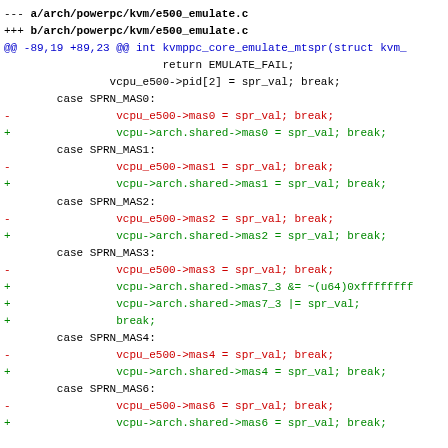--- a/arch/powerpc/kvm/e500_emulate.c
+++ b/arch/powerpc/kvm/e500_emulate.c
@@ -89,19 +89,23 @@ int kvmppc_core_emulate_mtspr(struct kvm_
return EMULATE_FAIL;
vcpu_e500->pid[2] = spr_val; break;
case SPRN_MAS0:
-               vcpu_e500->mas0 = spr_val; break;
+               vcpu->arch.shared->mas0 = spr_val; break;
case SPRN_MAS1:
-               vcpu_e500->mas1 = spr_val; break;
+               vcpu->arch.shared->mas1 = spr_val; break;
case SPRN_MAS2:
-               vcpu_e500->mas2 = spr_val; break;
+               vcpu->arch.shared->mas2 = spr_val; break;
case SPRN_MAS3:
-               vcpu_e500->mas3 = spr_val; break;
+               vcpu->arch.shared->mas7_3 &= ~(u64)0xffffffff
+               vcpu->arch.shared->mas7_3 |= spr_val;
+               break;
case SPRN_MAS4:
-               vcpu_e500->mas4 = spr_val; break;
+               vcpu->arch.shared->mas4 = spr_val; break;
case SPRN_MAS6:
-               vcpu_e500->mas6 = spr_val; break;
+               vcpu->arch.shared->mas6 = spr_val; break;